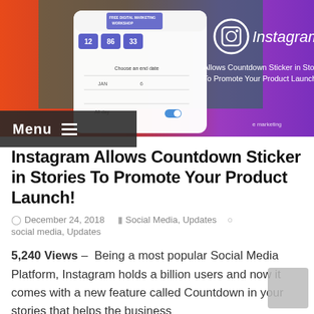[Figure (screenshot): Instagram promotional banner showing countdown sticker feature with gradient background (orange to purple), Instagram logo, and mock UI screenshot on left side]
Menu ≡
Instagram Allows Countdown Sticker in Stories To Promote Your Product Launch!
December 24, 2018   Social Media, Updates   social media, Updates
5,240 Views –  Being a most popular Social Media Platform, Instagram holds a billion users and now it comes with a new feature called Countdown in your stories that helps the business